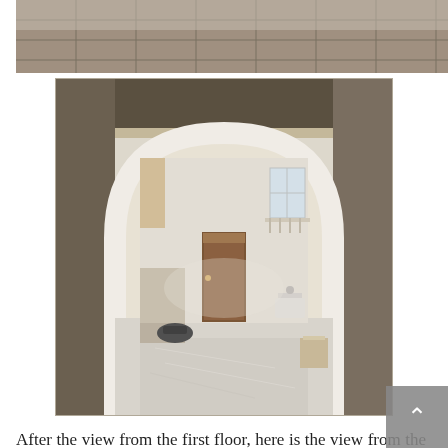[Figure (photo): Partial view of top photo showing floor tiles under construction with ladders visible, cropped at top of page]
[Figure (photo): Interior photo of a building under construction showing a large white arched doorway/opening leading to a hallway with polished marble floor, a door at the far end, a small balcony visible upper right, a sink on the right side, and construction equipment on the floor]
After the view from the first floor, here is the view from the ground floor.  The door and the small balcony, for observing or capturing the events held in the large room, overlook a door leading to the artists' residence.  There is storage on the left and a sink on the right.  But yes